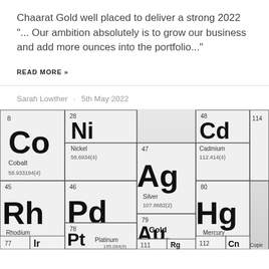Chaarat Gold well placed to deliver a strong 2022  "... Our ambition absolutely is to grow our business and add more ounces into the portfolio..."
READ MORE »
Sarah Lowther · 5th May 2022
[Figure (photo): Close-up photo of a periodic table showing elements including Co (Cobalt, 27), Ni (Nickel, 28), Pd (Palladium, 46), Ag (Silver, 47), Rh (Rhodium, 45), Cd (Cadmium, 48), Hg (Mercury, 80), Au (Gold, 79), Pt (Platinum, 78), and others. Black and white/grayscale image.]